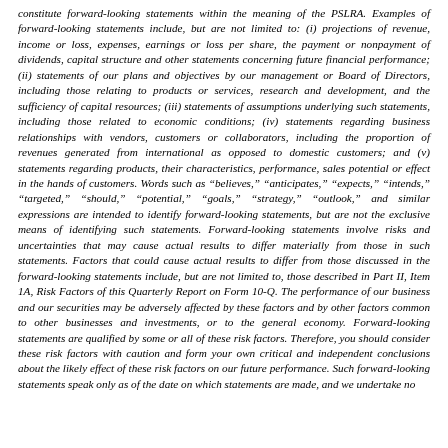constitute forward-looking statements within the meaning of the PSLRA. Examples of forward-looking statements include, but are not limited to: (i) projections of revenue, income or loss, expenses, earnings or loss per share, the payment or nonpayment of dividends, capital structure and other statements concerning future financial performance; (ii) statements of our plans and objectives by our management or Board of Directors, including those relating to products or services, research and development, and the sufficiency of capital resources; (iii) statements of assumptions underlying such statements, including those related to economic conditions; (iv) statements regarding business relationships with vendors, customers or collaborators, including the proportion of revenues generated from international as opposed to domestic customers; and (v) statements regarding products, their characteristics, performance, sales potential or effect in the hands of customers. Words such as “believes,” “anticipates,” “expects,” “intends,” “targeted,” “should,” “potential,” “goals,” “strategy,” “outlook,” and similar expressions are intended to identify forward-looking statements, but are not the exclusive means of identifying such statements. Forward-looking statements involve risks and uncertainties that may cause actual results to differ materially from those in such statements. Factors that could cause actual results to differ from those discussed in the forward-looking statements include, but are not limited to, those described in Part II, Item 1A, Risk Factors of this Quarterly Report on Form 10-Q. The performance of our business and our securities may be adversely affected by these factors and by other factors common to other businesses and investments, or to the general economy. Forward-looking statements are qualified by some or all of these risk factors. Therefore, you should consider these risk factors with caution and form your own critical and independent conclusions about the likely effect of these risk factors on our future performance. Such forward-looking statements speak only as of the date on which statements are made, and we undertake no